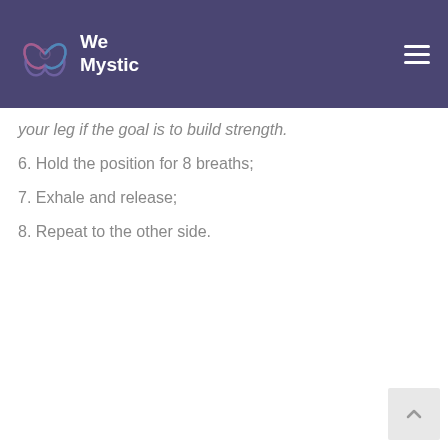We Mystic
your leg if the goal is to build strength.
6. Hold the position for 8 breaths;
7. Exhale and release;
8. Repeat to the other side.